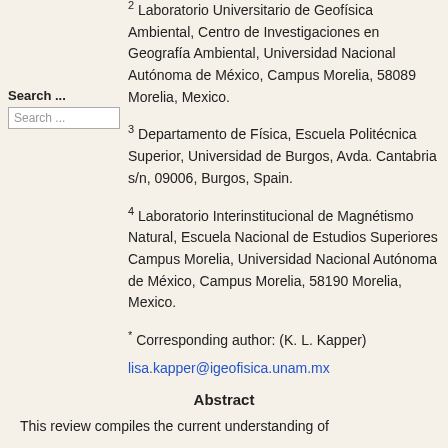2 Laboratorio Universitario de Geofísica Ambiental, Centro de Investigaciones en Geografía Ambiental, Universidad Nacional Autónoma de México, Campus Morelia, 58089 Morelia, Mexico.
Search ...
3 Departamento de Física, Escuela Politécnica Superior, Universidad de Burgos, Avda. Cantabria s/n, 09006, Burgos, Spain.
4 Laboratorio Interinstitucional de Magnétismo Natural, Escuela Nacional de Estudios Superiores Campus Morelia, Universidad Nacional Autónoma de México, Campus Morelia, 58190 Morelia, Mexico.
* Corresponding author: (K. L. Kapper)
lisa.kapper@igeofisica.unam.mx
Abstract
This review compiles the current understanding of